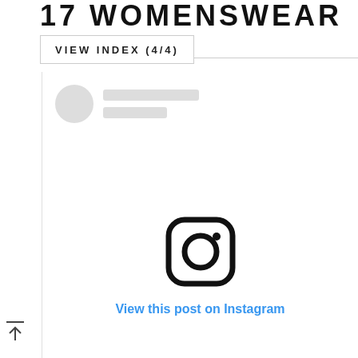17 WOMENSWEAR
23 FEBRUARY 2017
VIEW INDEX (4/4)
[Figure (screenshot): Social media post skeleton loader with circle avatar placeholder and two grey loading bars]
[Figure (logo): Instagram logo icon (rounded square with circle and dot)]
View this post on Instagram
[Figure (other): Back to top arrow icon with horizontal line above upward arrow]